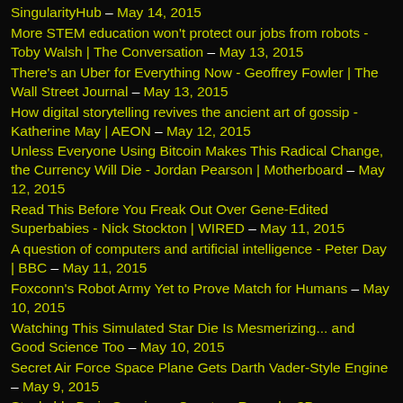SingularityHub – May 14, 2015
More STEM education won't protect our jobs from robots - Toby Walsh | The Conversation – May 13, 2015
There's an Uber for Everything Now - Geoffrey Fowler | The Wall Street Journal – May 13, 2015
How digital storytelling revives the ancient art of gossip - Katherine May | AEON – May 12, 2015
Unless Everyone Using Bitcoin Makes This Radical Change, the Currency Will Die - Jordan Pearson | Motherboard – May 12, 2015
Read This Before You Freak Out Over Gene-Edited Superbabies - Nick Stockton | WIRED – May 11, 2015
A question of computers and artificial intelligence - Peter Day | BBC – May 11, 2015
Foxconn's Robot Army Yet to Prove Match for Humans – May 10, 2015
Watching This Simulated Star Die Is Mesmerizing... and Good Science Too – May 10, 2015
Secret Air Force Space Plane Gets Darth Vader-Style Engine – May 9, 2015
Stackable Brain Specimen Coasters Reveal a 3D